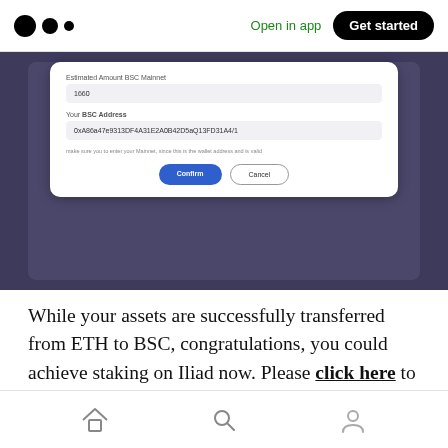Medium logo | Open in app | Get started
[Figure (screenshot): Screenshot of a BSC transfer confirmation modal with fields for 'Estimated Amount BSC Mainnet' showing '1660', 'Your BSC Address' showing '0xA86a47e9313DF4A31E2A0B42D5aQ13FD31A4/1', a hint text, and Confirm/Cancel buttons on a dark purple background.]
While your assets are successfully transferred from ETH to BSC, congratulations, you could achieve staking on Iliad now. Please click here to know or review the operation process of the Iliad.
Home | Search | Profile icons